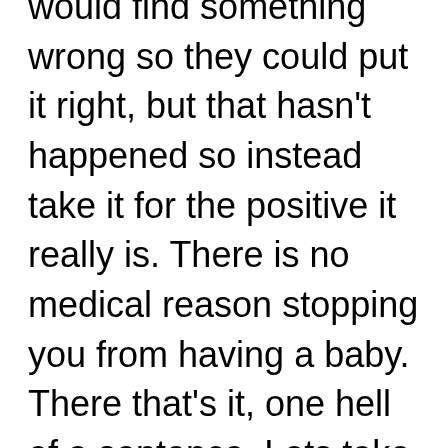would find something wrong so they could put it right, but that hasn't happened so instead take it for the positive it really is. There is no medical reason stopping you from having a baby. There that's it, one hell of a sentence. Lets take it as a truth. I'm not beating around the bush, what would be the point? So let this year 2018 be the one that you start